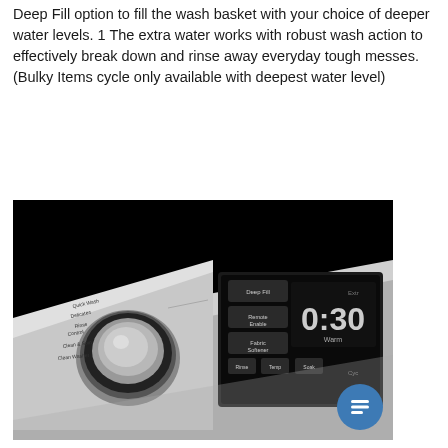Deep Fill option to fill the wash basket with your choice of deeper water levels. 1 The extra water works with robust wash action to effectively break down and rinse away everyday tough messes. (Bulky Items cycle only available with deepest water level)
[Figure (photo): Close-up black and white photograph of a washing machine control panel showing a large cycle selector knob on the left and a digital display panel on the right showing '0:30', with buttons including Deep Fill, Remote Enable, Fabric Softener, Rinse, Temp, Soak, and other cycle options]